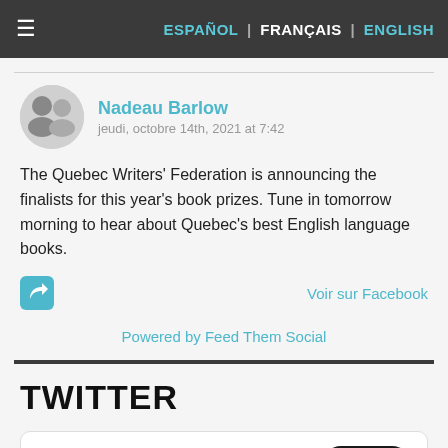ESPAÑOL | FRANÇAIS | ENGLISH
Nadeau Barlow
jeudi, octobre 14th, 2021 at 7:42
The Quebec Writers' Federation is announcing the finalists for this year's book prizes. Tune in tomorrow morning to hear about Quebec's best English language books.
Voir sur Facebook
Powered by Feed Them Social
TWITTER
Tweets de @NadeauBarlow